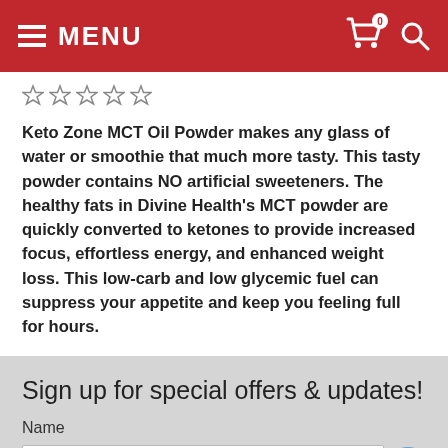MENU
★ ★ ★ ★ ★
Keto Zone MCT Oil Powder makes any glass of water or smoothie that much more tasty. This tasty powder contains NO artificial sweeteners. The healthy fats in Divine Health's MCT powder are quickly converted to ketones to provide increased focus, effortless energy, and enhanced weight loss. This low-carb and low glycemic fuel can suppress your appetite and keep you feeling full for hours.
Sign up for special offers & updates!
Name